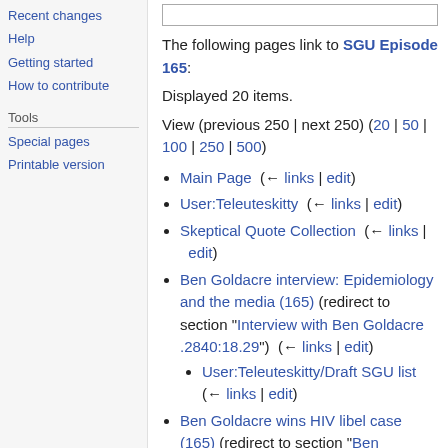Recent changes
Help
Getting started
How to contribute
Tools
Special pages
Printable version
The following pages link to SGU Episode 165:
Displayed 20 items.
View (previous 250 | next 250) (20 | 50 | 100 | 250 | 500)
Main Page  (← links | edit)
User:Teleuteskitty  (← links | edit)
Skeptical Quote Collection  (← links | edit)
Ben Goldacre interview: Epidemiology and the media (165) (redirect to section "Interview with Ben Goldacre .2840:18.29")  (← links | edit)
User:Teleuteskitty/Draft SGU list  (← links | edit)
Ben Goldacre wins HIV libel case (165) (redirect to section "Ben